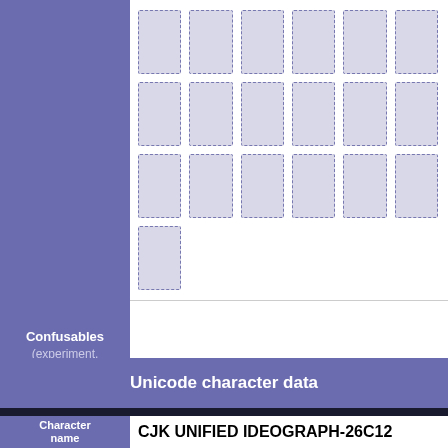[Figure (illustration): Grid of 19 glyph/character placeholder boxes arranged in 4 rows with dashed borders on a white background, left purple sidebar visible]
Confusables (experiment, needs work)
Unicode character data
| Character name |  |
| --- | --- |
| Character name | CJK UNIFIED IDEOGRAPH-26C12 |